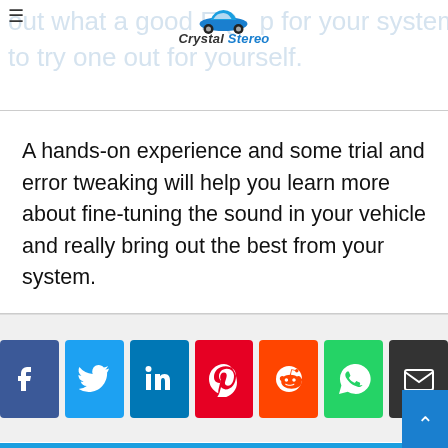Crystal Stereo
A hands-on experience and some trial and error tweaking will help you learn more about fine-tuning the sound in your vehicle and really bring out the best from your system.
[Figure (infographic): Social media share buttons: Facebook, Twitter, LinkedIn, Pinterest, Reddit, WhatsApp, Email]
[Figure (photo): Circular author profile photo showing a man with dark hair and beard wearing a dark cap]